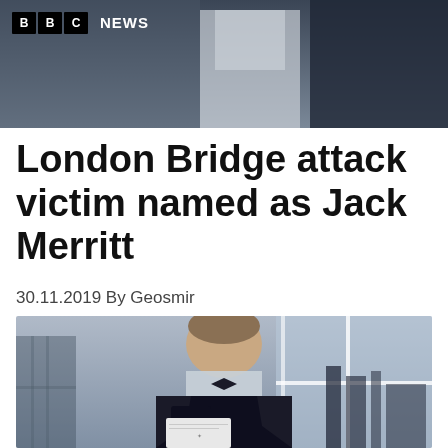[Figure (photo): Top photo showing a person in formal attire with BBC News logo overlay in the top-left corner]
London Bridge attack victim named as Jack Merritt
30.11.2019 By Geosmir
[Figure (photo): Photo of a young man in formal academic/black tie attire holding a document, standing in front of large windows]